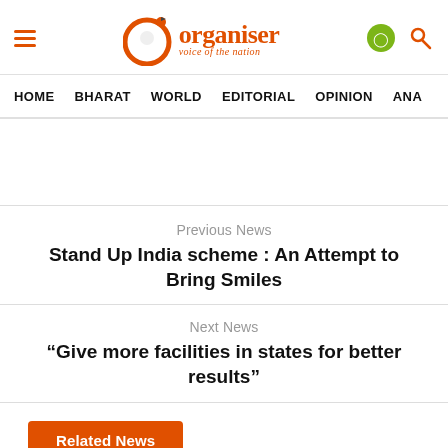Organiser - Voice of the Nation
HOME   BHARAT   WORLD   EDITORIAL   OPINION   ANA
Previous News
Stand Up India scheme : An Attempt to Bring Smiles
Next News
“Give more facilities in states for better results”
Related News